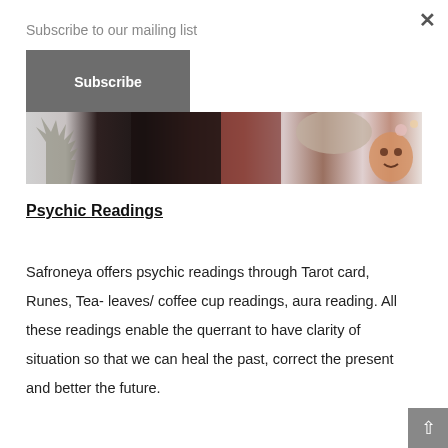Subscribe to our mailing list
Subscribe
[Figure (photo): A photo showing figures in dark clothing and textile decorations, including what appears to be a decorative face/mask on the right side, with a tree silhouette on the left.]
Psychic Readings
Safroneya offers psychic readings through Tarot card, Runes, Tea- leaves/ coffee cup readings, aura reading. All these readings enable the querrant to have clarity of situation so that we can heal the past, correct the present and better the future.